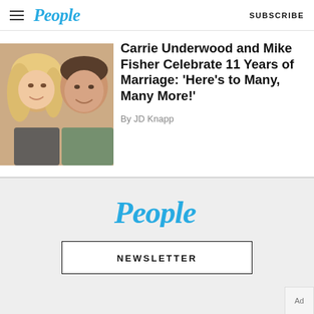People — SUBSCRIBE
[Figure (photo): Photo of a blonde woman and a man smiling together, selfie style]
Carrie Underwood and Mike Fisher Celebrate 11 Years of Marriage: ‘Here’s to Many, Many More!’
By JD Knapp
[Figure (logo): People magazine logo in blue italic font]
NEWSLETTER